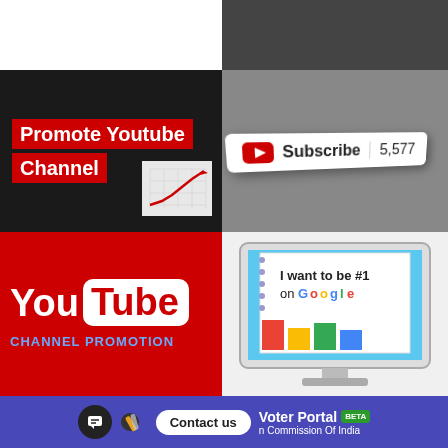[Figure (screenshot): Top left: white/blank area]
[Figure (screenshot): Top right: dark gray area]
[Figure (illustration): Promote Youtube Channel banner with red text on dark background and a rising chart graphic]
[Figure (illustration): YouTube Subscribe button showing count 5,577 in 3D perspective]
[Figure (logo): YouTube logo with CHANNEL PROMOTION text on red background]
[Figure (screenshot): I want to be #1 on Google shown on a monitor display]
[Figure (screenshot): Voter Portal BETA - Election Commission Of India with Contact us button and chat icon]